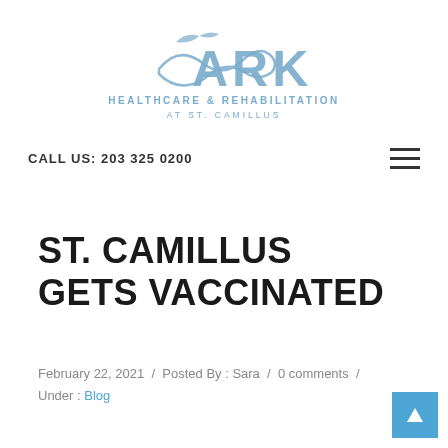[Figure (logo): ARK Healthcare & Rehabilitation at St. Camillus logo with stylized bird/wave icon in light blue]
CALL US: 203 325 0200
ST. CAMILLUS GETS VACCINATED
February 22, 2021 / Posted By : Sara / 0 comments / Under : Blog